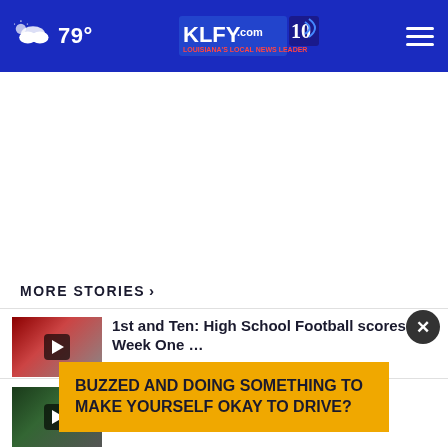79° KLFY.com 10
[Figure (screenshot): White advertisement area (blank)]
MORE STORIES ›
1st and Ten: High School Football scores – Week One …
...back vs. SUL in...
BUZZED AND DOING SOMETHING TO MAKE YOURSELF OKAY TO DRIVE?